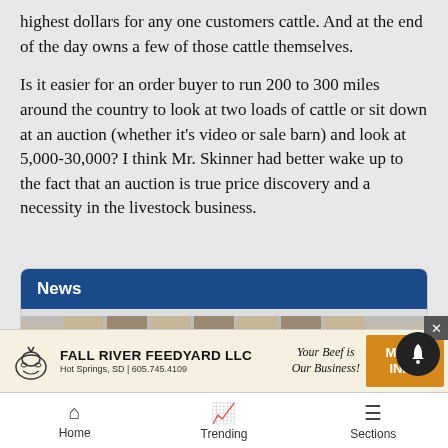highest dollars for any one customers cattle. And at the end of the day owns a few of those cattle themselves.
Is it easier for an order buyer to run 200 to 300 miles around the country to look at two loads of cattle or sit down at an auction (whether it’s video or sale barn) and look at 5,000-30,000? I think Mr. Skinner had better wake up to the fact that an auction is true price discovery and a necessity in the livestock business.
News
[Figure (photo): Partial view of a photo inside a news card section]
[Figure (infographic): Advertisement banner for Fall River Feedyard LLC. Text: FALL RIVER FEEDYARD LLC, Hot Springs, SD | 605.745.4109, Your Beef is Our Business!, MORE INFO button]
Home   Trending   Sections